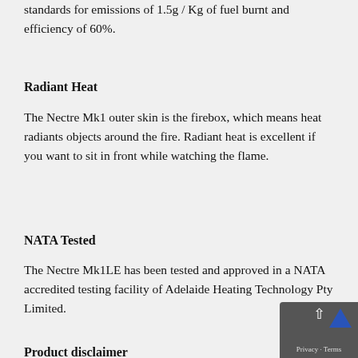standards for emissions of 1.5g / Kg of fuel burnt and efficiency of 60%.
Radiant Heat
The Nectre Mk1 outer skin is the firebox, which means heat radiants objects around the fire. Radiant heat is excellent if you want to sit in front while watching the flame.
NATA Tested
The Nectre Mk1LE has been tested and approved in a NATA accredited testing facility of Adelaide Heating Technology Pty Limited.
Product disclaimer